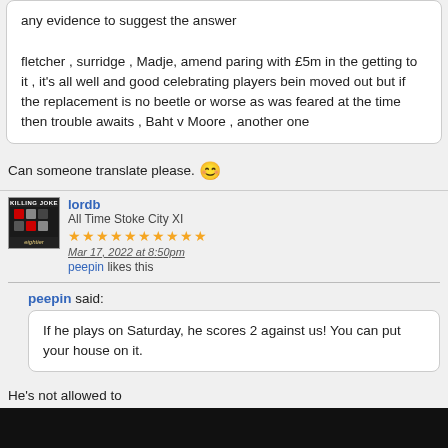any evidence to suggest the answer

fletcher , surridge , Madje, amend paring with £5m in the getting to it , it's all well and good celebrating players bein moved out but if the replacement is no beetle or worse as was feared at the time then trouble awaits , Baht v Moore , another one
Can someone translate please. 😊
lordb
All Time Stoke City XI
★★★★★★★★★★
Mar 17, 2022 at 8:50pm
peepin likes this
peepin said:
If he plays on Saturday, he scores 2 against us! You can put your house on it.
He's not allowed to
Frankly that puts us at a disadvantage